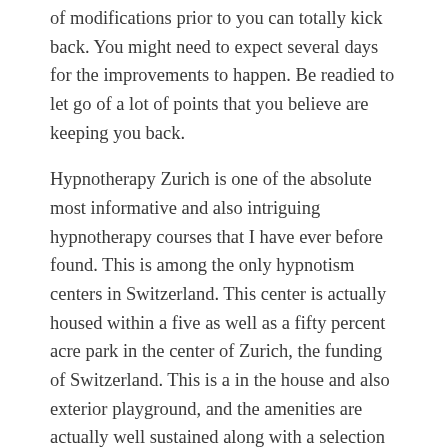of modifications prior to you can totally kick back. You might need to expect several days for the improvements to happen. Be readied to let go of a lot of points that you believe are keeping you back.
Hypnotherapy Zurich is one of the absolute most informative and also intriguing hypnotherapy courses that I have ever before found. This is among the only hypnotism centers in Switzerland. This center is actually housed within a five as well as a fifty percent acre park in the center of Zurich, the funding of Switzerland. This is a in the house and also exterior playground, and the amenities are actually well sustained along with a selection of activities for kids.
It has actually been actually claimed that the owner of